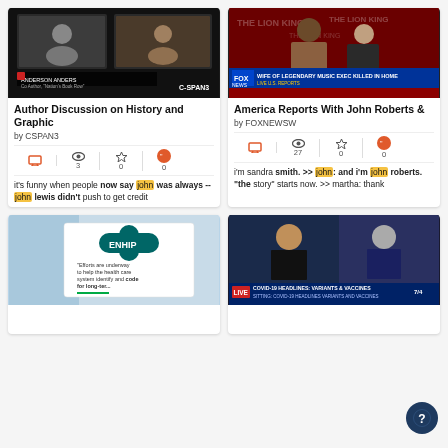[Figure (screenshot): CSPAN3 video thumbnail showing a video call with two people in panels]
Author Discussion on History and Graphic
by CSPAN3
TV icon, views: 3, favorites: 0, quotes: 0
it's funny when people now say john was always -- john lewis didn't push to get credit
[Figure (screenshot): Fox News America Reports thumbnail with two people at event, banner: WIFE OF LEGENDARY MUSIC EXEC KILLED IN HOME]
America Reports With John Roberts &
by FOXNEWSW
TV icon, views: 27, favorites: 0, quotes: 0
i'm sandra smith. >> john: and i'm john roberts. "the story" starts now. >> martha: thank
[Figure (screenshot): NHIP health care card thumbnail with medical glove and teal cross logo]
[Figure (screenshot): COVID-19 headlines news thumbnail with two people, live chyron at bottom]